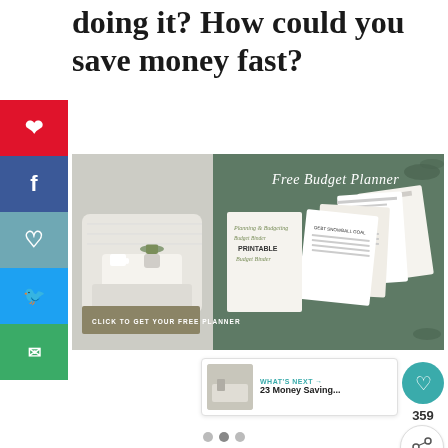doing it? How could you save money fast?
[Figure (illustration): Banner advertisement for a Free Budget Planner with a cozy home background on the left and green background on the right showing budget planner printable sheets. Button reads 'CLICK TO GET YOUR FREE PLANNER'.]
[Figure (infographic): Social share sidebar with Pinterest, Facebook, heart/save, Twitter and email buttons on left side]
WHAT'S NEXT → 23 Money Saving...
359